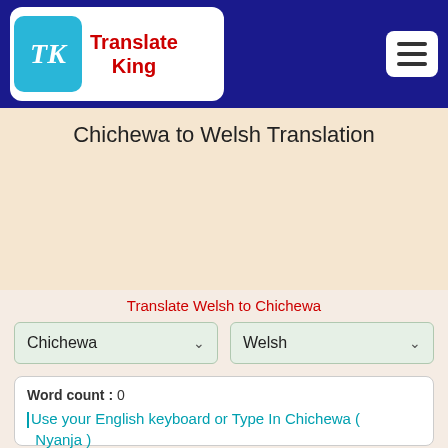TK Translate King
Chichewa to Welsh Translation
Translate Welsh to Chichewa
Chichewa
Welsh
Word count : 0
Use your English keyboard or Type In Chichewa ( Nyanja )

E.g - Muli bwanji